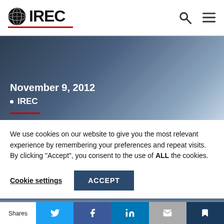IREC
[Figure (screenshot): Hero banner with dark blue gradient background showing date November 9, 2012 and IREC tag with red underline]
We use cookies on our website to give you the most relevant experience by remembering your preferences and repeat visits. By clicking “Accept”, you consent to the use of ALL the cookies.
Cookie settings   ACCEPT
Shares